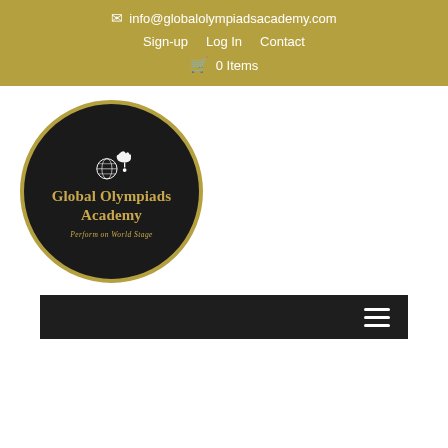✉ info@globalolympiadsacademy.com  Sign-up  Log In  Contact  🛒 0 Items
[Figure (logo): Global Olympiads Academy circular logo: black circle with gold border, white globe icon with warrior helmet, gold text 'Global Olympiads Academy', gold italic tagline 'Perform on World Stage']
[Figure (other): Dark navigation bar with hamburger menu icon on the right]